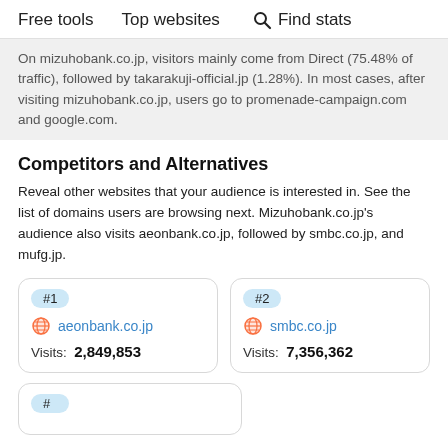Free tools   Top websites   🔍 Find stats
On mizuhobank.co.jp, visitors mainly come from Direct (75.48% of traffic), followed by takarakuji-official.jp (1.28%). In most cases, after visiting mizuhobank.co.jp, users go to promenade-campaign.com and google.com.
Competitors and Alternatives
Reveal other websites that your audience is interested in. See the list of domains users are browsing next. Mizuhobank.co.jp's audience also visits aeonbank.co.jp, followed by smbc.co.jp, and mufg.jp.
| Rank | Site | Visits |
| --- | --- | --- |
| #1 | aeonbank.co.jp | 2,849,853 |
| #2 | smbc.co.jp | 7,356,362 |